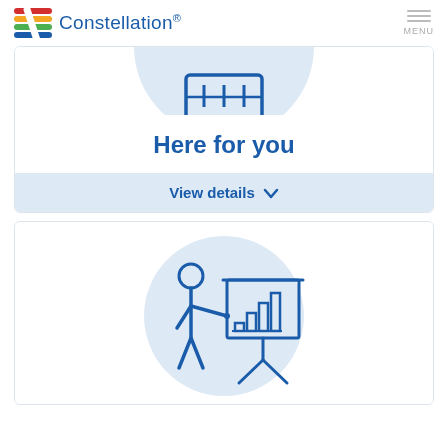[Figure (logo): Constellation brand logo with colored stripes icon and blue Constellation text]
[Figure (illustration): Blue outline icon of a monitor/screen on a semicircular light blue background, partially cropped at top]
Here for you
View details ∨
[Figure (illustration): Blue outline icon of a person presenting a bar chart on an easel, inside a light blue circle]